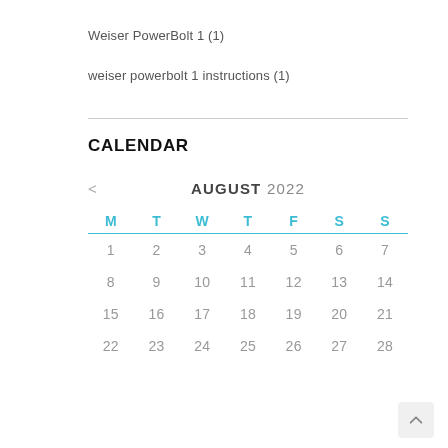Weiser PowerBolt 1 (1)
weiser powerbolt 1 instructions (1)
CALENDAR
[Figure (other): August 2022 calendar widget with days M T W T F S S, showing dates 1-28 across four rows]